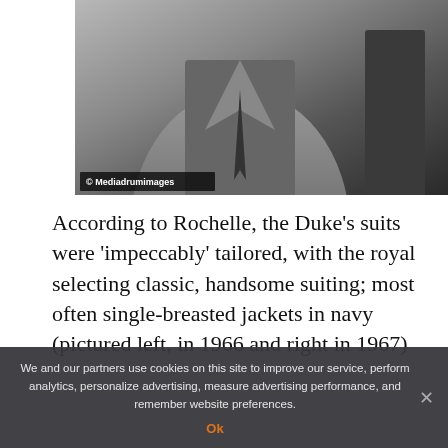[Figure (photo): Black and white photograph of a man in a suit, with a watermark reading '© Mediadrumimages' in the lower left corner.]
According to Rochelle, the Duke's suits were 'impeccably' tailored, with the royal selecting classic, handsome suiting; most often single-breasted jackets in navy (pictured left, in 1966 and right in 1967)
We and our partners use cookies on this site to improve our service, perform analytics, personalize advertising, measure advertising performance, and remember website preferences.